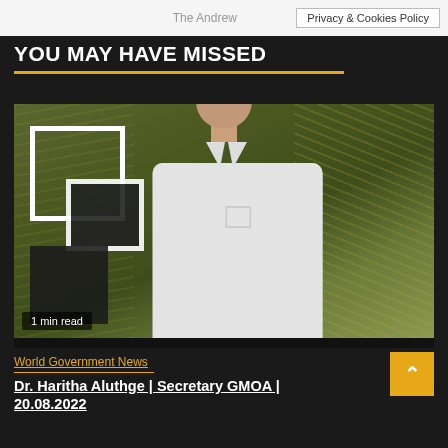The Andrew | Privacy & Cookies Policy
YOU MAY HAVE MISSED
[Figure (photo): Photo of Dr. Haritha Aluthge, a man in a white short-sleeve shirt, standing in front of a decorative wall with geometric square shapes and a dried grass/straw textured background]
1 min read
World Government News
Dr. Haritha Aluthge | Secretary GMOA | 20.08.2022